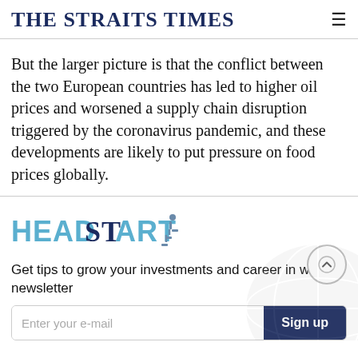THE STRAITS TIMES
But the larger picture is that the conflict between the two European countries has led to higher oil prices and worsened a supply chain disruption triggered by the coronavirus pandemic, and these developments are likely to put pressure on food prices globally.
[Figure (logo): HeadStart logo — stylized text with a figure climbing stairs icon]
Get tips to grow your investments and career in weekly newsletter
Enter your e-mail   Sign up